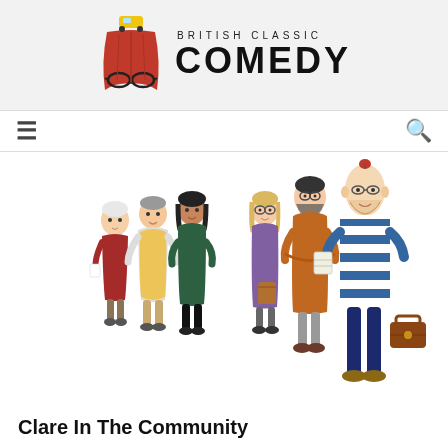British Classic Comedy
[Figure (illustration): British Classic Comedy website logo: a cartoon figure made of a red curtain/skirt shape with oversized glasses and a yellow toy car on top, next to text reading BRITISH CLASSIC COMEDY]
[Figure (illustration): Navigation bar with hamburger menu icon on the left and search icon on the right]
[Figure (illustration): Cartoon illustration of characters from Clare In The Community: a group of five cartoon people on the left (elderly woman in red, man in hi-vis vest, woman in green top, woman in purple, bearded man in orange sweater) and a tall thin man on the right wearing a blue and white striped top, dark trousers, and carrying a briefcase, with a small figure on his head]
Clare In The Community